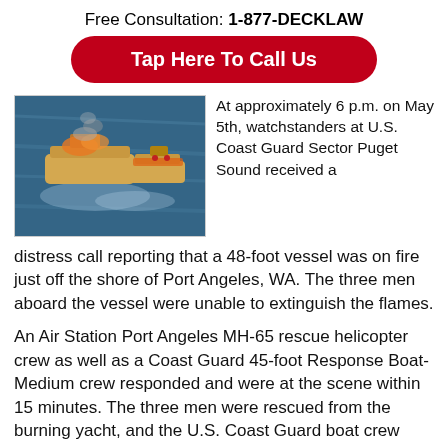Free Consultation: 1-877-DECKLAW
Tap Here To Call Us
[Figure (photo): Aerial view of two boats on dark blue ocean water, one appearing to be a burning/distressed vessel with orange coloring]
At approximately 6 p.m. on May 5th, watchstanders at U.S. Coast Guard Sector Puget Sound received a distress call reporting that a 48-foot vessel was on fire just off the shore of Port Angeles, WA. The three men aboard the vessel were unable to extinguish the flames.
An Air Station Port Angeles MH-65 rescue helicopter crew as well as a Coast Guard 45-foot Response Boat-Medium crew responded and were at the scene within 15 minutes. The three men were rescued from the burning yacht, and the U.S. Coast Guard boat crew boarded the burning vessel and attempted to extinguish the fire with the use of a fire extinguisher and a water